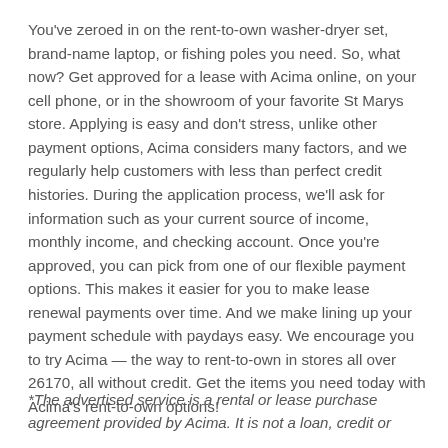You've zeroed in on the rent-to-own washer-dryer set, brand-name laptop, or fishing poles you need. So, what now? Get approved for a lease with Acima online, on your cell phone, or in the showroom of your favorite St Marys store. Applying is easy and don't stress, unlike other payment options, Acima considers many factors, and we regularly help customers with less than perfect credit histories. During the application process, we'll ask for information such as your current source of income, monthly income, and checking account. Once you're approved, you can pick from one of our flexible payment options. This makes it easier for you to make lease renewal payments over time. And we make lining up your payment schedule with paydays easy. We encourage you to try Acima — the way to rent-to-own in stores all over 26170, all without credit. Get the items you need today with Acima's rent-to-own options!
*The advertised service is a rental or lease purchase agreement provided by Acima. It is not a loan, credit or